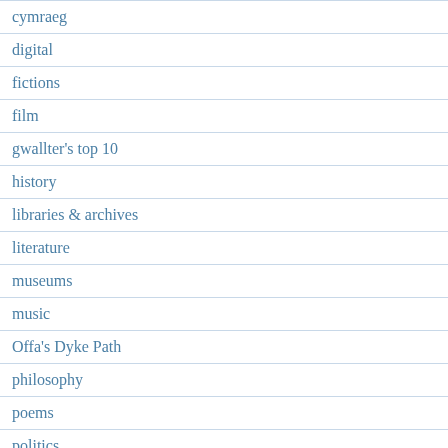cymraeg
digital
fictions
film
gwallter's top 10
history
libraries & archives
literature
museums
music
Offa's Dyke Path
philosophy
poems
politics